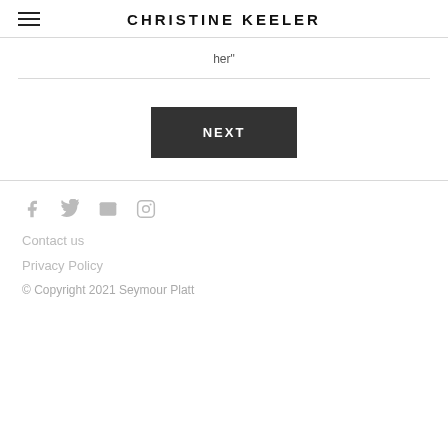CHRISTINE KEELER
her"
NEXT
Contact us
Privacy Policy
© Copyright 2021 Seymour Platt